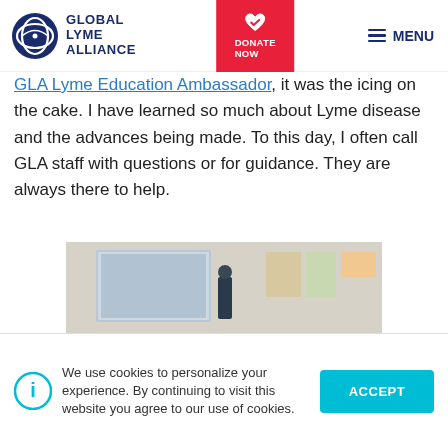Global Lyme Alliance — DONATE NOW — MENU
GLA Lyme Education Ambassador, it was the icing on the cake. I have learned so much about Lyme disease and the advances being made. To this day, I often call GLA staff with questions or for guidance. They are always there to help.
[Figure (photo): Classroom photo showing a presenter at a whiteboard with students seated at desks watching the presentation]
We use cookies to personalize your experience. By continuing to visit this website you agree to our use of cookies.